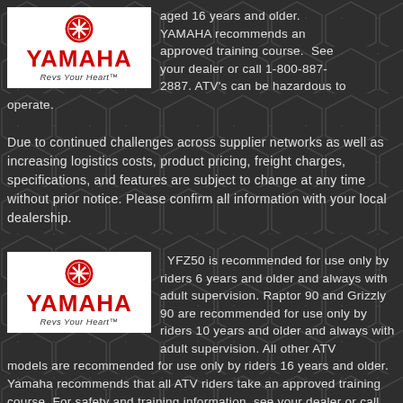[Figure (logo): Yamaha logo with tuning fork emblem, red YAMAHA text, and 'Revs Your Heart' tagline on white background]
aged 16 years and older. YAMAHA recommends an approved training course.  See your dealer or call 1-800-887-2887. ATV's can be hazardous to operate.
Due to continued challenges across supplier networks as well as increasing logistics costs, product pricing, freight charges, specifications, and features are subject to change at any time without prior notice. Please confirm all information with your local dealership.
[Figure (logo): Yamaha logo with tuning fork emblem, red YAMAHA text, and 'Revs Your Heart' tagline on white background]
YFZ50 is recommended for use only by riders 6 years and older and always with adult supervision. Raptor 90 and Grizzly 90 are recommended for use only by riders 10 years and older and always with adult supervision. All other ATV models are recommended for use only by riders 16 years and older. Yamaha recommends that all ATV riders take an approved training course. For safety and training information, see your dealer or call the ATV Safety Institute at 1-800-887-2887. Read the Owner's Manual and the product warning labels before operation. ATVs